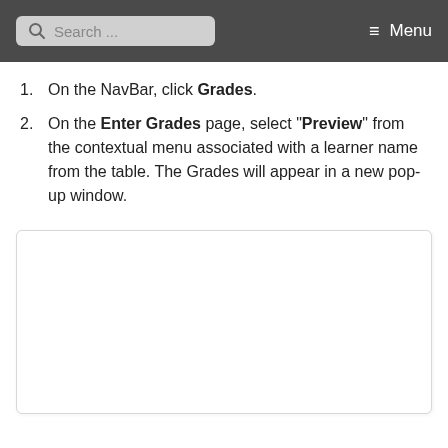Search ... Menu
On the NavBar, click Grades.
On the Enter Grades page, select "Preview" from the contextual menu associated with a learner name from the table. The Grades will appear in a new pop-up window.
[Figure (screenshot): Empty white screenshot placeholder box with light border]